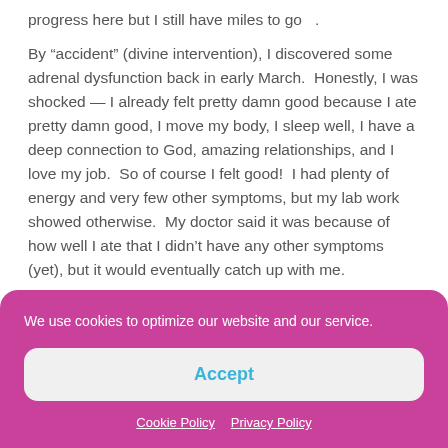progress here but I still have miles to go  .
By “accident” (divine intervention), I discovered some adrenal dysfunction back in early March.  Honestly, I was shocked — I already felt pretty damn good because I ate pretty damn good, I move my body, I sleep well, I have a deep connection to God, amazing relationships, and I love my job.  So of course I felt good!  I had plenty of energy and very few other symptoms, but my lab work showed otherwise.  My doctor said it was because of how well I ate that I didn’t have any other symptoms (yet), but it would eventually catch up with me.
We use cookies to optimize our website and our service.
Accept
Cookie Policy  Privacy Policy